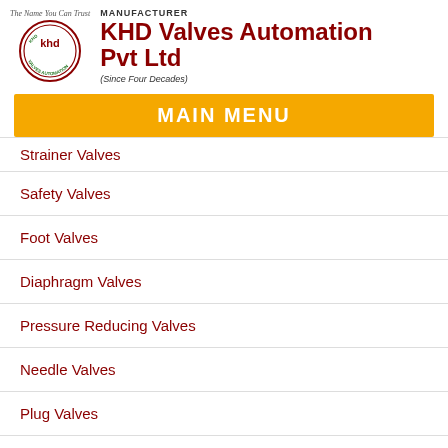[Figure (logo): KHD Valves Automation Pvt Ltd logo with circular emblem and tagline 'The Name You Can Trust']
KHD Valves Automation Pvt Ltd
MAIN MENU
Strainer Valves
Safety Valves
Foot Valves
Diaphragm Valves
Pressure Reducing Valves
Needle Valves
Plug Valves
Flush Bottom